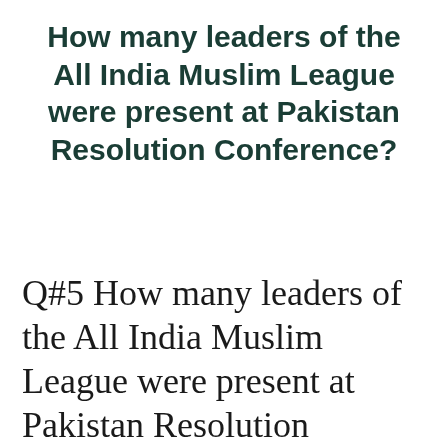How many leaders of the All India Muslim League were present at Pakistan Resolution Conference?
Q#5 How many leaders of the All India Muslim League were present at Pakistan Resolution Conference?